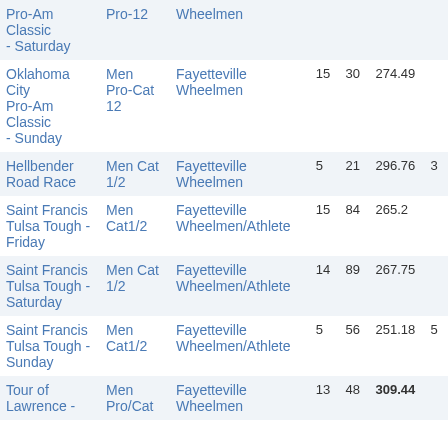| Race | Category | Team | Col4 | Col5 | Col6 | Col7 |
| --- | --- | --- | --- | --- | --- | --- |
| Pro-Am Classic - Saturday | Pro-12 | Wheelmen |  |  |  |  |
| Oklahoma City Pro-Am Classic - Sunday | Men Pro-Cat 12 | Fayetteville Wheelmen | 15 | 30 | 274.49 |  |
| Hellbender Road Race | Men Cat 1/2 | Fayetteville Wheelmen | 5 | 21 | 296.76 | 3 |
| Saint Francis Tulsa Tough - Friday | Men Cat1/2 | Fayetteville Wheelmen/Athlete | 15 | 84 | 265.2 |  |
| Saint Francis Tulsa Tough - Saturday | Men Cat 1/2 | Fayetteville Wheelmen/Athlete | 14 | 89 | 267.75 |  |
| Saint Francis Tulsa Tough - Sunday | Men Cat1/2 | Fayetteville Wheelmen/Athlete | 5 | 56 | 251.18 | 5 |
| Tour of Lawrence - | Men Pro/Cat | Fayetteville Wheelmen | 13 | 48 | 309.44 |  |